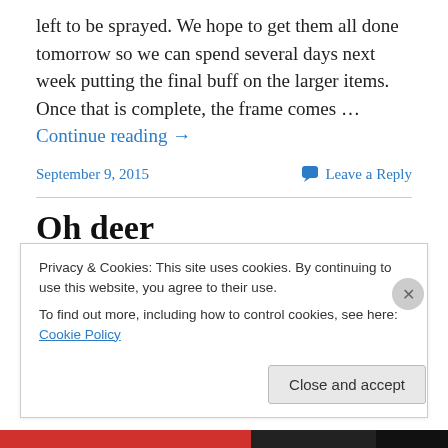left to be sprayed. We hope to get them all done tomorrow so we can spend several days next week putting the final buff on the larger items. Once that is complete, the frame comes … Continue reading →
September 9, 2015   Leave a Reply
Oh deer
A deer wanted to get an up close and personal look at this Ford Edge. Unfortunately for him and the owner, he got a
Privacy & Cookies: This site uses cookies. By continuing to use this website, you agree to their use.
To find out more, including how to control cookies, see here: Cookie Policy